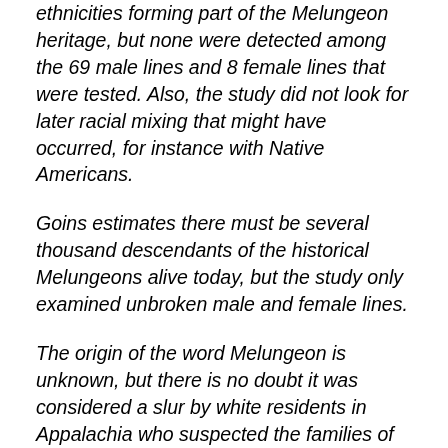ethnicities forming part of the Melungeon heritage, but none were detected among the 69 male lines and 8 female lines that were tested. Also, the study did not look for later racial mixing that might have occurred, for instance with Native Americans.
Goins estimates there must be several thousand descendants of the historical Melungeons alive today, but the study only examined unbroken male and female lines.
The origin of the word Melungeon is unknown, but there is no doubt it was considered a slur by white residents in Appalachia who suspected the families of being mixed race.
“It’s sometimes embarrassing to see the lengths your ancestors went to hide their African heritage, but look at the consequences” said Wayne Winkler, past president of